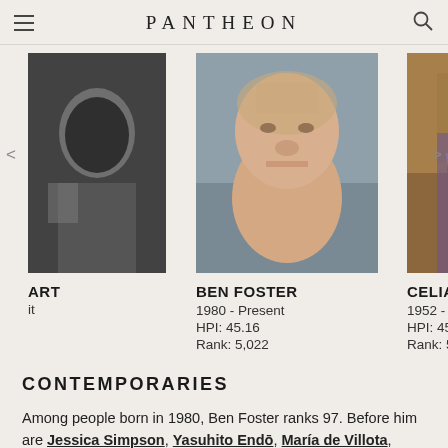PANTHEON
[Figure (photo): Partial view of a black and white portrait photo of a person, cropped from the left side]
ART
it
[Figure (photo): Close-up portrait photo of Ben Foster, a bald man with light stubble looking at the camera]
BEN FOSTER
1980 - Present
HPI: 45.16
Rank: 5,022
[Figure (photo): Partial portrait photo of Celia Imr, showing decorative clothing, cropped from the right side]
CELIA IMR
1952 - Pres
HPI: 45.16
Rank: 5,023
CONTEMPORARIES
Among people born in 1980, Ben Foster ranks 97. Before him are Jessica Simpson, Yasuhito Endō, María de Villota, Zachery Levi, Tom Ronan, and